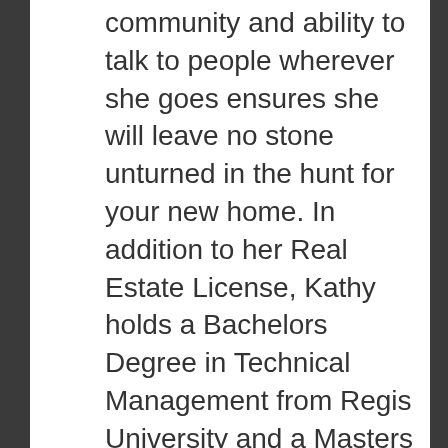community and ability to talk to people wherever she goes ensures she will leave no stone unturned in the hunt for your new home. In addition to her Real Estate License, Kathy holds a Bachelors Degree in Technical Management from Regis University and a Masters degree in Educational Leadership from Grand Canyon University. She works as a Homeless Liaison for Lake County Schools where she assists homeless and unaccompanied youth in achieving their educational goals. In her spare time, Kathy enjoys running, working in the yard, fishing, and spending time with her family. View all posts by Kathy Entler, Optima One Realty